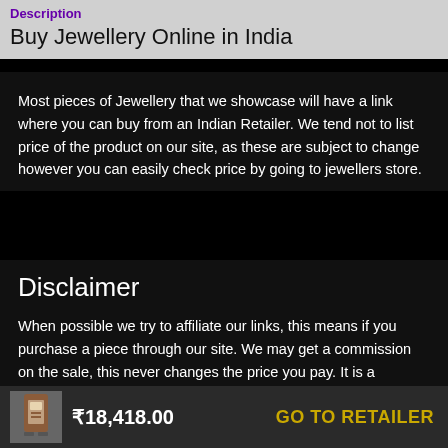Description
Buy Jewellery Online in India
Most pieces of Jewellery that we showcase will have a link where you can buy from an Indian Retailer. We tend not to list price of the product on our site, as these are subject to change however you can easily check price by going to jewellers store.
Disclaimer
When possible we try to affiliate our links, this means if you purchase a piece through our site. We may get a commission on the sale, this never changes the price you pay. It is a marketing fee which the retailer pays us, to bring customers and seller together.
₹18,418.00  GO TO RETAILER